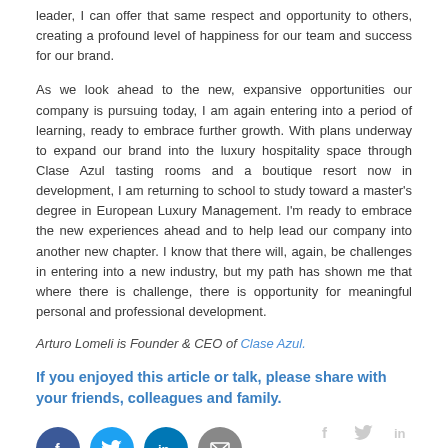leader, I can offer that same respect and opportunity to others, creating a profound level of happiness for our team and success for our brand.
As we look ahead to the new, expansive opportunities our company is pursuing today, I am again entering into a period of learning, ready to embrace further growth. With plans underway to expand our brand into the luxury hospitality space through Clase Azul tasting rooms and a boutique resort now in development, I am returning to school to study toward a master's degree in European Luxury Management. I'm ready to embrace the new experiences ahead and to help lead our company into another new chapter. I know that there will, again, be challenges in entering into a new industry, but my path has shown me that where there is challenge, there is opportunity for meaningful personal and professional development.
Arturo Lomeli is Founder & CEO of Clase Azul.
If you enjoyed this article or talk, please share with your friends, colleagues and family.
[Figure (infographic): Social media share icons: Facebook (blue circle with f), Twitter (light blue circle with bird), LinkedIn (dark blue circle with in), Email (grey circle with envelope)]
[Figure (infographic): Footer social icons: grey Facebook f, grey Twitter bird, grey LinkedIn in]